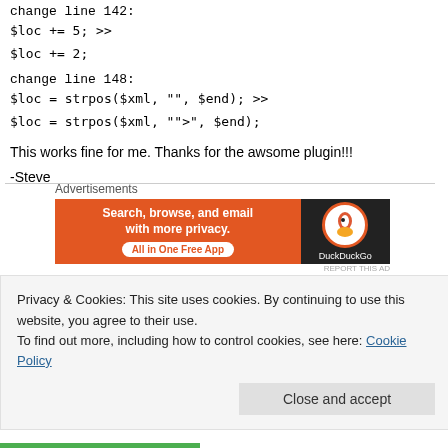change line 142:
$loc += 5; >>
$loc += 2;
change line 148:
$loc = strpos($xml, "", $end); >>
$loc = strpos($xml, "">", $end);
This works fine for me. Thanks for the awsome plugin!!!
-Steve
[Figure (screenshot): DuckDuckGo advertisement banner: Search, browse, and email with more privacy. All in One Free App.]
REPORT THIS AD
AJAY D'SOUZA SAYS: MARCH 9, 2006 AT 5:41 AM
Privacy & Cookies: This site uses cookies. By continuing to use this website, you agree to their use. To find out more, including how to control cookies, see here: Cookie Policy
Close and accept